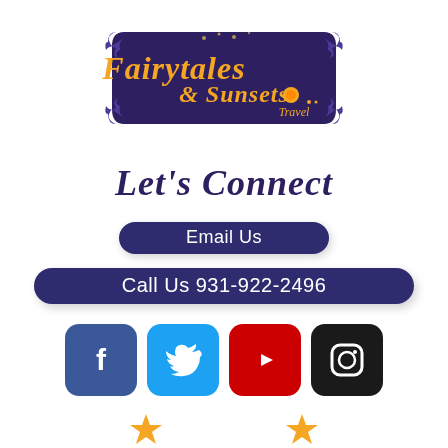[Figure (logo): Fairytales & Sunsets Travel logo — dark navy blue scroll/banner shape with gold/orange script text reading 'Fairytales & Sunsets Travel' and an orange sun graphic]
Let's Connect
Email Us
Call Us 931-922-2496
[Figure (infographic): Row of four social media icons: Facebook (blue), Twitter (light blue), YouTube (red), Instagram (dark/black)]
[Figure (illustration): Two orange/gold star decorative icons partially visible at bottom]